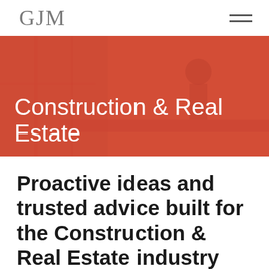GJM
[Figure (photo): Hero banner with a red/coral overlay over a construction site scene showing workers in a workshop or construction area. Large white text reads 'Construction & Real Estate'.]
Proactive ideas and trusted advice built for the Construction & Real Estate industry